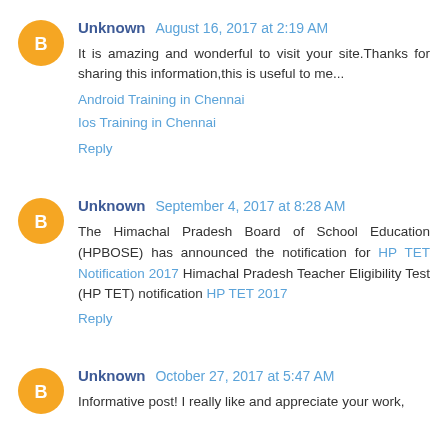Unknown August 16, 2017 at 2:19 AM
It is amazing and wonderful to visit your site.Thanks for sharing this information,this is useful to me...
Android Training in Chennai
Ios Training in Chennai
Reply
Unknown September 4, 2017 at 8:28 AM
The Himachal Pradesh Board of School Education (HPBOSE) has announced the notification for HP TET Notification 2017 Himachal Pradesh Teacher Eligibility Test (HP TET) notification HP TET 2017
Reply
Unknown October 27, 2017 at 5:47 AM
Informative post! I really like and appreciate your work,